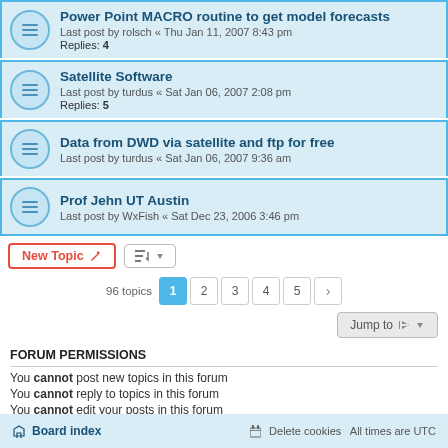Power Point MACRO routine to get model forecasts
Last post by rolsch « Thu Jan 11, 2007 8:43 pm
Replies: 4
Satellite Software
Last post by turdus « Sat Jan 06, 2007 2:08 pm
Replies: 5
Data from DWD via satellite and ftp for free
Last post by turdus « Sat Jan 06, 2007 9:36 am
Prof Jehn UT Austin
Last post by WxFish « Sat Dec 23, 2006 3:46 pm
New Topic   [sort]   96 topics  1 2 3 4 5 >
Jump to
FORUM PERMISSIONS
You cannot post new topics in this forum
You cannot reply to topics in this forum
You cannot edit your posts in this forum
You cannot delete your posts in this forum
You cannot post attachments in this forum
Board index    Delete cookies   All times are UTC